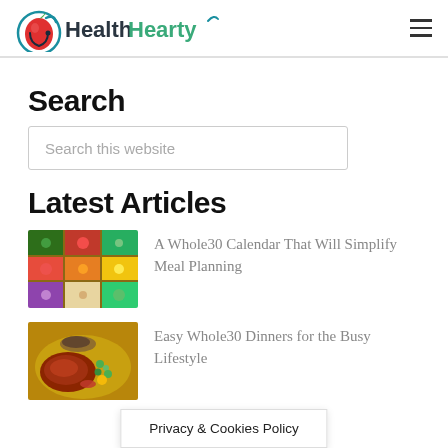HealthHearty
Search
Search this website
Latest Articles
[Figure (photo): Grid of colorful vegetables and produce in compartments]
A Whole30 Calendar That Will Simplify Meal Planning
[Figure (photo): Grilled meat and vegetables dish]
Easy Whole30 Dinners for the Busy Lifestyle
Privacy & Cookies Policy